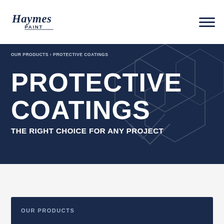[Figure (logo): Haymes Paint logo — cursive 'Haymes' text above 'PAINT' in sans-serif, dark navy color]
OUR PRODUCTS › PROTECTIVE COATINGS
PROTECTIVE COATINGS
THE RIGHT CHOICE FOR ANY PROJECT
OUR PRODUCTS